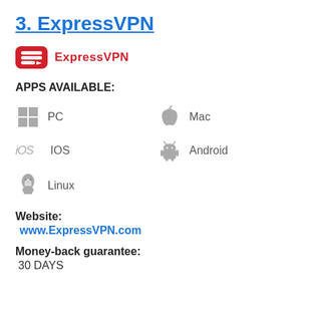3. ExpressVPN
[Figure (logo): ExpressVPN logo: red rounded rectangle with white arrow/VPN symbol and red 'ExpressVPN' text]
APPS AVAILABLE:
PC
Mac
IOS
Android
Linux
Website:
www.ExpressVPN.com
Money-back guarantee:
30 DAYS